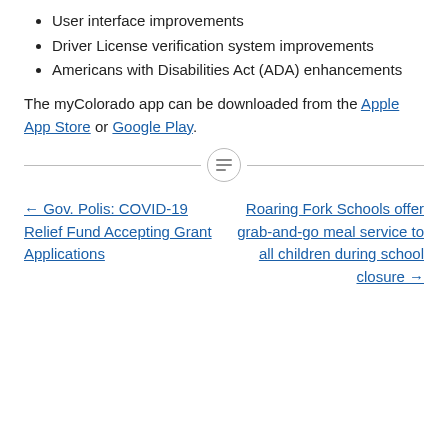User interface improvements
Driver License verification system improvements
Americans with Disabilities Act (ADA) enhancements
The myColorado app can be downloaded from the Apple App Store or Google Play.
← Gov. Polis: COVID-19 Relief Fund Accepting Grant Applications
Roaring Fork Schools offer grab-and-go meal service to all children during school closure →